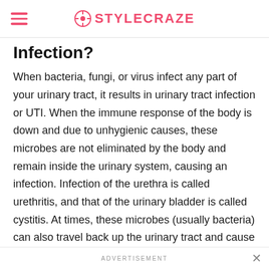STYLECRAZE
Infection?
When bacteria, fungi, or virus infect any part of your urinary tract, it results in urinary tract infection or UTI. When the immune response of the body is down and due to unhygienic causes, these microbes are not eliminated by the body and remain inside the urinary system, causing an infection. Infection of the urethra is called urethritis, and that of the urinary bladder is called cystitis. At times, these microbes (usually bacteria) can also travel back up the urinary tract and cause infection in the kidneys (1)
ADVERTISEMENT